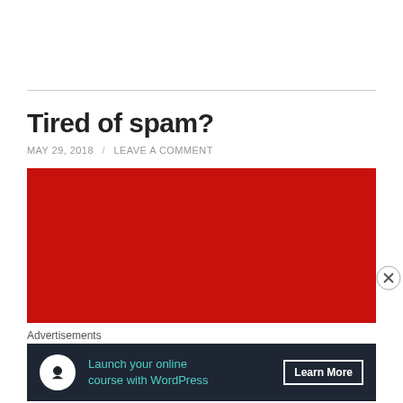Tired of spam?
MAY 29, 2018  /  LEAVE A COMMENT
[Figure (other): Large red rectangle image block]
Advertisements
[Figure (other): Advertisement banner: Launch your online course with WordPress — Learn More]